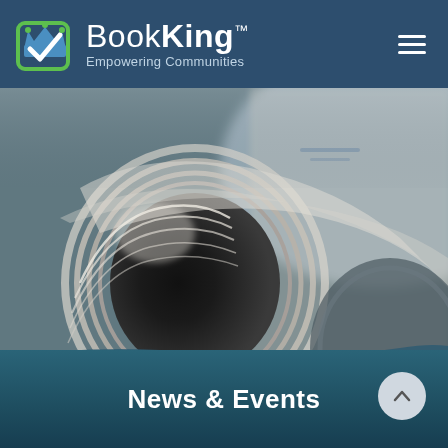BookKing™ Empowering Communities
[Figure (photo): Close-up macro photograph of a rolled/folded newspaper or magazine, showing the layered pages in a spiral cross-section. The image has muted tones of black, dark grey, white, and beige with a blurred background.]
News & Events